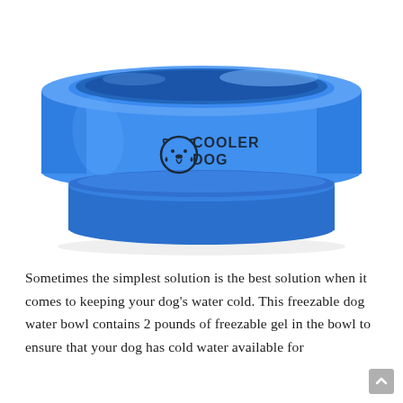[Figure (photo): A blue dog water bowl branded with 'Cooler Dog' logo on a white background. The bowl is round and wide with a thick rim and a stepped base, rendered in bright royal blue.]
Sometimes the simplest solution is the best solution when it comes to keeping your dog's water cold. This freezable dog water bowl contains 2 pounds of freezable gel in the bowl to ensure that your dog has cold water available for